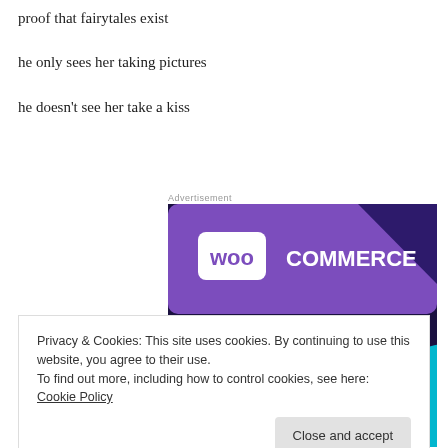proof that fairytales exist
he only sees her taking pictures
he doesn't see her take a kiss
Advertisement
[Figure (illustration): WooCommerce advertisement banner with dark purple background, teal and cyan geometric shapes, WooCommerce logo, and text 'Turn your hobby into a business in 8 steps']
Privacy & Cookies: This site uses cookies. By continuing to use this website, you agree to their use.
To find out more, including how to control cookies, see here: Cookie Policy